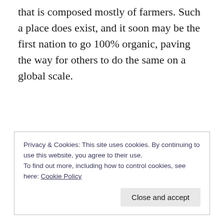that is composed mostly of farmers. Such a place does exist, and it soon may be the first nation to go 100% organic, paving the way for others to do the same on a global scale.
Privacy & Cookies: This site uses cookies. By continuing to use this website, you agree to their use. To find out more, including how to control cookies, see here: Cookie Policy
Close and accept